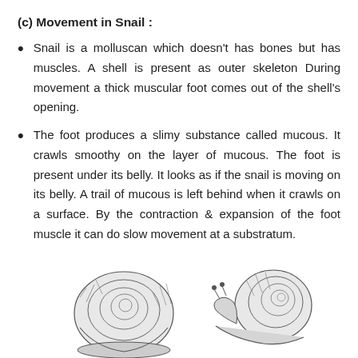(c) Movement in Snail :
Snail is a molluscan which doesn't has bones but has muscles. A shell is present as outer skeleton During movement a thick muscular foot comes out of the shell's opening.
The foot produces a slimy substance called mucous. It crawls smoothy on the layer of mucous. The foot is present under its belly. It looks as if the snail is moving on its belly. A trail of mucous is left behind when it crawls on a surface. By the contraction & expansion of the foot muscle it can do slow movement at a substratum.
[Figure (illustration): Two pencil/ink illustrations of snails side by side: left shows a snail with shell from above/front, right shows a snail with shell from the side with foot extended.]